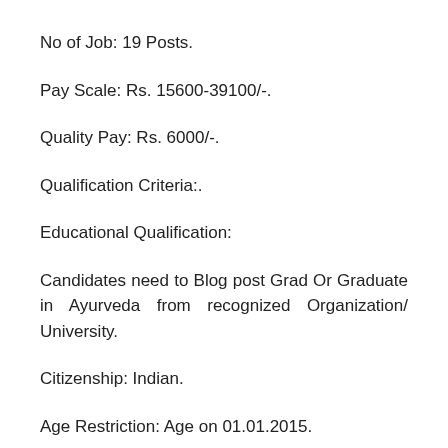No of Job: 19 Posts.
Pay Scale: Rs. 15600-39100/-.
Quality Pay: Rs. 6000/-.
Qualification Criteria:.
Educational Qualification:
Candidates need to Blog post Grad Or Graduate in Ayurveda from recognized Organization/ University.
Citizenship: Indian.
Age Restriction: Age on 01.01.2015.